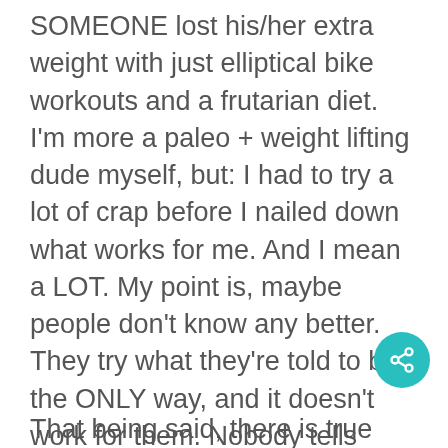SOMEONE lost his/her extra weight with just elliptical bike workouts and a frutarian diet. I'm more a paleo + weight lifting dude myself, but: I had to try a lot of crap before I nailed down what works for me. And I mean a LOT. My point is, maybe people don't know any better. They try what they're told to be the ONLY way, and it doesn't work for them. Nobody tells them they can try other options…. So they give up on their laziness, because they gave it a honest try for a few months and got nowhere. I was there so many times.
That being said, there is true